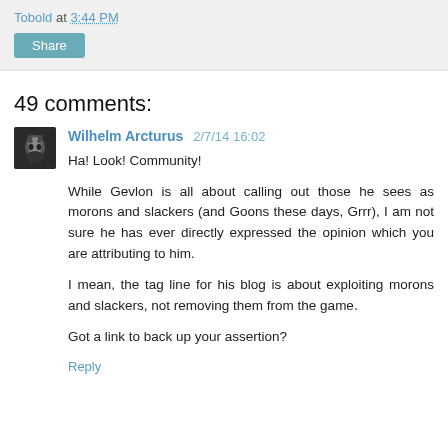Tobold at 3:44 PM
Share
49 comments:
Wilhelm Arcturus 2/7/14 16:02
Ha! Look! Community!
While Gevlon is all about calling out those he sees as morons and slackers (and Goons these days, Grrr), I am not sure he has ever directly expressed the opinion which you are attributing to him.
I mean, the tag line for his blog is about exploiting morons and slackers, not removing them from the game.
Got a link to back up your assertion?
Reply